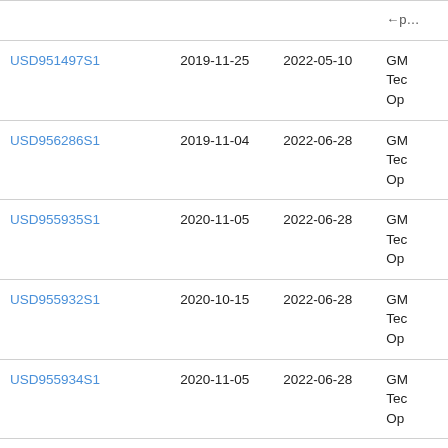| USD951497S1 | 2019-11-25 | 2022-05-10 | GM
Tec
Op |
| USD956286S1 | 2019-11-04 | 2022-06-28 | GM
Tec
Op |
| USD955935S1 | 2020-11-05 | 2022-06-28 | GM
Tec
Op |
| USD955932S1 | 2020-10-15 | 2022-06-28 | GM
Tec
Op |
| USD955934S1 | 2020-11-05 | 2022-06-28 | GM
Tec
Op |
| USD956282S1 | 2019-04-29 | 2022-06-28 | GM
Tec
Op |